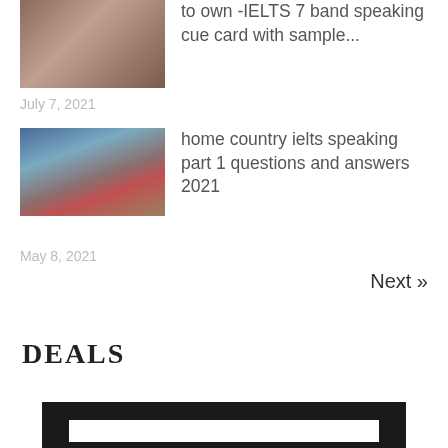[Figure (photo): Thumbnail image of food/baked goods, brownish tones]
to own -IELTS 7 band speaking cue card with sample...
July 7, 2021
[Figure (photo): Thumbnail image of scenic landscape with mountains, water, and red buildings]
home country ielts speaking part 1 questions and answers 2021
May 8, 2021
Next »
DEALS